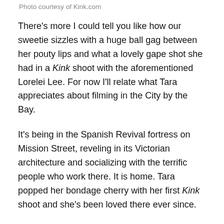Photo courtesy of Kink.com
There's more I could tell you like how our sweetie sizzles with a huge ball gag between her pouty lips and what a lovely gape shot she had in a Kink shoot with the aforementioned Lorelei Lee. For now I'll relate what Tara appreciates about filming in the City by the Bay.
It's being in the Spanish Revival fortress on Mission Street, reveling in its Victorian architecture and socializing with the terrific people who work there. It is home. Tara popped her bondage cherry with her first Kink shoot and she's been loved there ever since.
“One of my favorite things about going to the Castle is bumping into Peter,” she says. “He is just so . . . words don't describe that man. But I love getting a hug from him.”